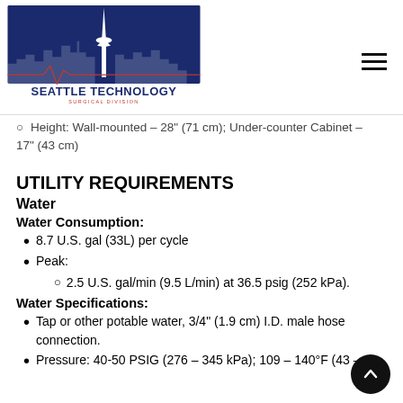[Figure (logo): Seattle Technology Surgical Division logo with Space Needle and cityscape silhouette on navy background]
Height: Wall-mounted – 28" (71 cm); Under-counter Cabinet – 17" (43 cm)
UTILITY REQUIREMENTS
Water
Water Consumption:
8.7 U.S. gal (33L) per cycle
Peak:
2.5 U.S. gal/min (9.5 L/min) at 36.5 psig (252 kPa).
Water Specifications:
Tap or other potable water, 3/4" (1.9 cm) I.D. male hose connection.
Pressure: 40-50 PSIG (276 – 345 kPa); 109 – 140°F (43 –